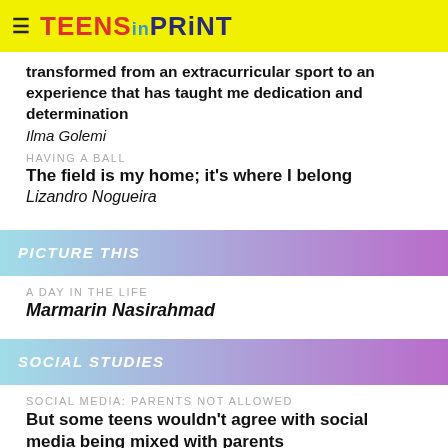TEENS in PRINT
transformed from an extracurricular sport to an experience that has taught me dedication and determination
Ilma Golemi
HAVING A BALL
The field is my home; it's where I belong
Lizandro Nogueira
PICTURE THIS
A DAY IN THE LIFE
Marmarin Nasirahmad
SOCIAL STUDIES
SOCIAL MEDIA: PARENTS NOT ALLOWED
But some teens wouldn't agree with social media being mixed with parents